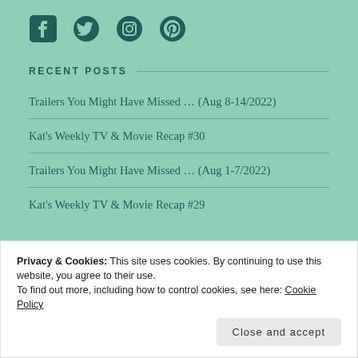[Figure (logo): Social media icons: Facebook, Twitter, Instagram, Pinterest in dark teal color]
RECENT POSTS
Trailers You Might Have Missed … (Aug 8-14/2022)
Kat's Weekly TV & Movie Recap #30
Trailers You Might Have Missed … (Aug 1-7/2022)
Kat's Weekly TV & Movie Recap #29
Privacy & Cookies: This site uses cookies. By continuing to use this website, you agree to their use.
To find out more, including how to control cookies, see here: Cookie Policy
Close and accept